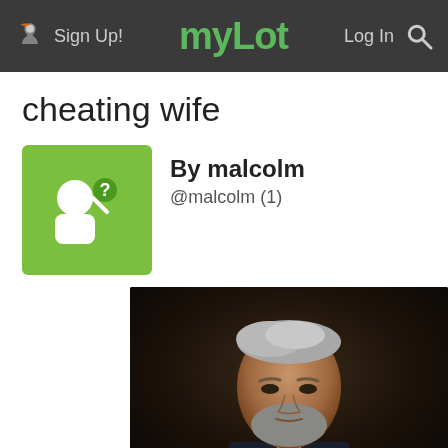myLot — Sign Up! / Log In
cheating wife
By malcolm
@malcolm (1)
[Figure (photo): Portrait photo of a middle-aged man with silver-gray swept-back hair and a beard, wearing a navy suit and dark tie, with a serious expression, photographed against a dark background.]